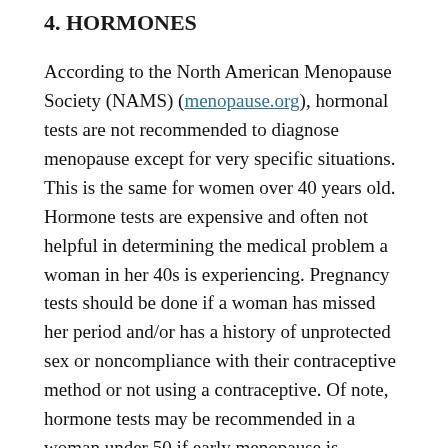4. HORMONES
According to the North American Menopause Society (NAMS) (menopause.org), hormonal tests are not recommended to diagnose menopause except for very specific situations. This is the same for women over 40 years old. Hormone tests are expensive and often not helpful in determining the medical problem a woman in her 40s is experiencing. Pregnancy tests should be done if a woman has missed her period and/or has a history of unprotected sex or noncompliance with their contraceptive method or not using a contraceptive. Of note, hormone tests may be recommended in a woman under 50 if early menopause is suspected. Symptoms may include stopping